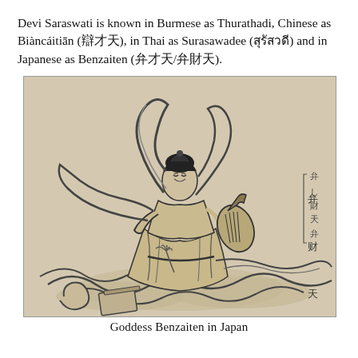Devi Saraswati is known in Burmese as Thurathadi, Chinese as Biàncáitiān (辯才天), in Thai as Surasawadee (สุรัสวดี) and in Japanese as Benzaiten (弁才天/弁財天).
[Figure (illustration): A Japanese ink drawing of Goddess Benzaiten seated on clouds, playing a biwa (lute), with flowing robes and ribbons, Japanese calligraphy text on the right side.]
Goddess Benzaiten in Japan